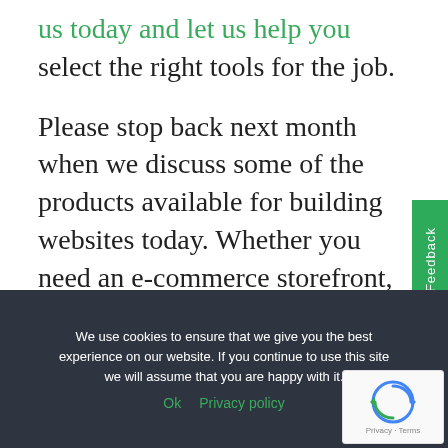us today and let us help you select the right tools for the job.
Please stop back next month when we discuss some of the products available for building websites today. Whether you need an e-commerce storefront, multi-media platform,
Feedback
We use cookies to ensure that we give you the best experience on our website. If you continue to use this site we will assume that you are happy with it.
Ok   Privacy policy